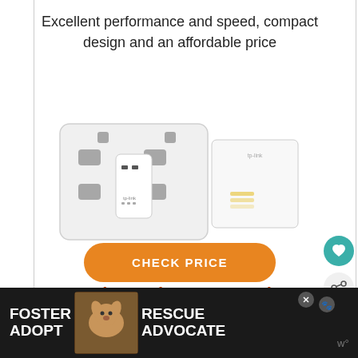Excellent performance and speed, compact design and an affordable price
[Figure (photo): Product photo of TP-Link powerline adapter kit plugged into a UK wall socket, with a standalone adapter unit beside it]
CHECK PRICE
2. Devolo Magic 2 Starter Kit
[Figure (photo): Advertisement banner showing a dog with text: FOSTER ADOPT / RESCUE ADVOCATE]